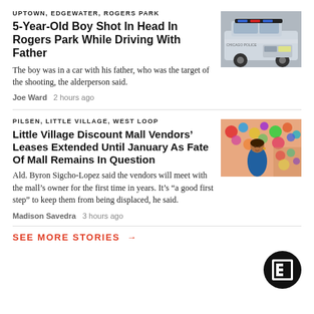UPTOWN, EDGEWATER, ROGERS PARK
5-Year-Old Boy Shot In Head In Rogers Park While Driving With Father
The boy was in a car with his father, who was the target of the shooting, the alderperson said.
Joe Ward   2 hours ago
[Figure (photo): Police car (Chicago police vehicle) parked or driving]
PILSEN, LITTLE VILLAGE, WEST LOOP
Little Village Discount Mall Vendors’ Leases Extended Until January As Fate Of Mall Remains In Question
Ald. Byron Sigcho-Lopez said the vendors will meet with the mall’s owner for the first time in years. It’s “a good first step” to keep them from being displaced, he said.
Madison Savedra   3 hours ago
[Figure (photo): Woman vendor at a colorful discount mall with merchandise visible]
[Figure (logo): Block Club Chicago logo: letter B in a square inside a circle]
SEE MORE STORIES →